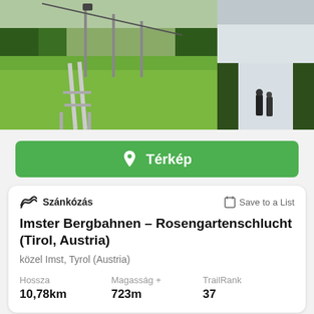[Figure (photo): Main large photo: aerial/ground view of a ski lift / summer toboggan run through green forested hillside]
[Figure (photo): Top-right small photo: snowy slope, white snow surface]
[Figure (photo): Bottom-right small photo: two people walking on a snowy forest path in winter]
Térkép
Szánkózás
Save to a List
Imster Bergbahnen – Rosengartenschlucht (Tirol, Austria)
közel Imst, Tyrol (Austria)
Hossza
10,78km
Magasság +
723m
TrailRank
37